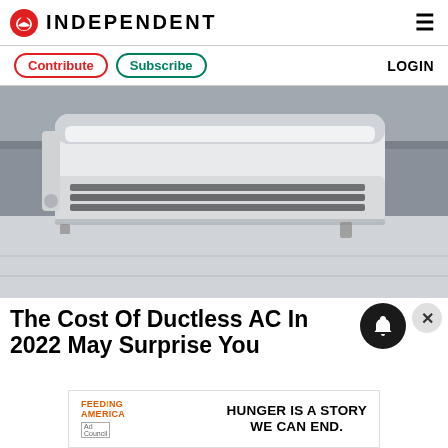INDEPENDENT
Contribute  Subscribe  LOGIN
[Figure (photo): A white ductless mini-split air conditioning unit mounted on a wall near the ceiling, with vents open, against a grey background]
The Cost Of Ductless AC In 2022 May Surprise You
[Figure (other): Ad banner: Feeding America Ad Council - HUNGER IS A STORY WE CAN END.]